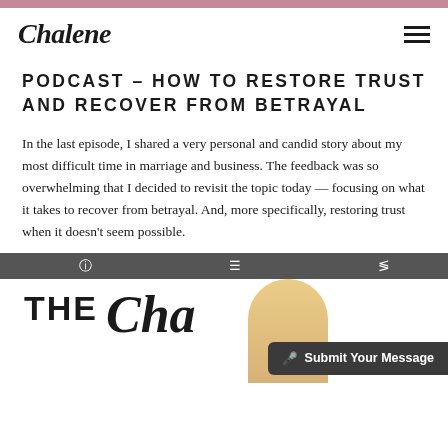Chalene
PODCAST – HOW TO RESTORE TRUST AND RECOVER FROM BETRAYAL
In the last episode, I shared a very personal and candid story about my most difficult time in marriage and business. The feedback was so overwhelming that I decided to revisit the topic today — focusing on what it takes to recover from betrayal. And, more specifically, restoring trust when it doesn't seem possible.
[Figure (screenshot): Podcast player screenshot showing toolbar with info, list, and share icons, and partial podcast cover art with 'THE' text and a blonde woman visible, along with a 'Submit Your Message' button overlay]